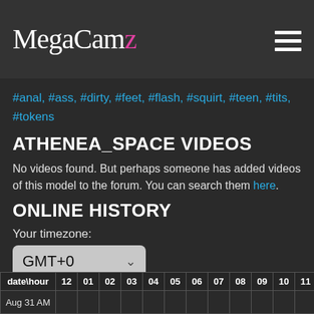MegaCamz
#anal, #ass, #dirty, #feet, #flash, #squirt, #teen, #tits, #tokens
ATHENEA_SPACE VIDEOS
No videos found. But perhaps someone has added videos of this model to the forum. You can search them here.
ONLINE HISTORY
Your timezone:
GMT+0
| date\hour | 12 | 01 | 02 | 03 | 04 | 05 | 06 | 07 | 08 | 09 | 10 | 11 |
| --- | --- | --- | --- | --- | --- | --- | --- | --- | --- | --- | --- | --- |
| Aug 31 AM |  |  |  |  |  |  |  |  |  |  |  |  |